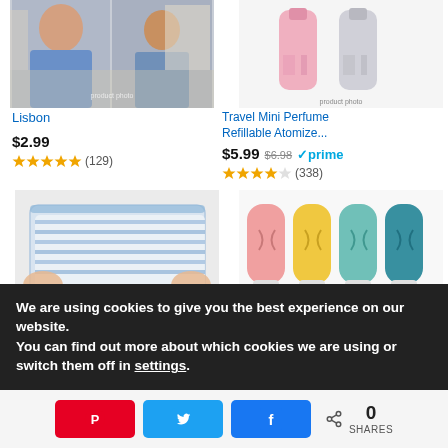[Figure (photo): Photo of a person in a blue shirt on a street, product image for 'Lisbon']
[Figure (photo): Product image of Travel Mini Perfume Refillable Atomizer bottles (pink and silver)]
Lisbon
Travel Mini Perfume Refillable Atomize...
$2.99
$5.99 $6.98 prime
★★★★★ (129)
★★★★☆ (338)
[Figure (photo): Hands packing striped clothes into a clear vacuum storage bag]
[Figure (photo): Four silicone travel bottles in pink, yellow, teal, and dark teal colors]
We are using cookies to give you the best experience on our website.
You can find out more about which cookies we are using or switch them off in settings.
[Figure (infographic): Social share bar with Pinterest, Twitter, Facebook buttons and share count of 0 SHARES]